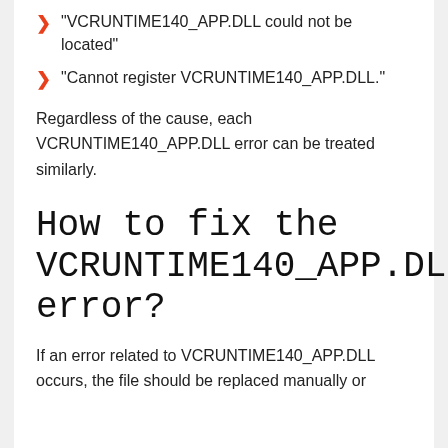“VCRUNTIME140_APP.DLL could not be located”
“Cannot register VCRUNTIME140_APP.DLL.”
Regardless of the cause, each VCRUNTIME140_APP.DLL error can be treated similarly.
How to fix the VCRUNTIME140_APP.DLL error?
If an error related to VCRUNTIME140_APP.DLL occurs, the file should be replaced manually or